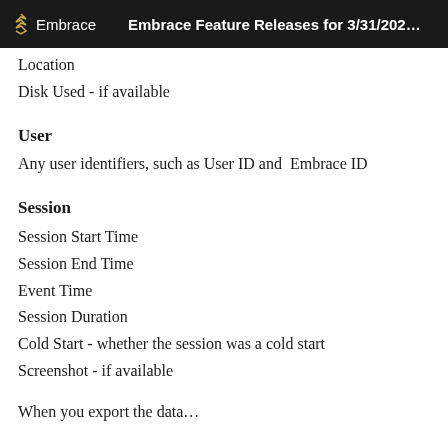Embrace   Embrace Feature Releases for 3/31/202...
Location
Disk Used - if available
User
Any user identifiers, such as User ID and  Embrace ID
Session
Session Start Time
Session End Time
Event Time
Session Duration
Cold Start - whether the session was a cold start
Screenshot - if available
When you export the data...